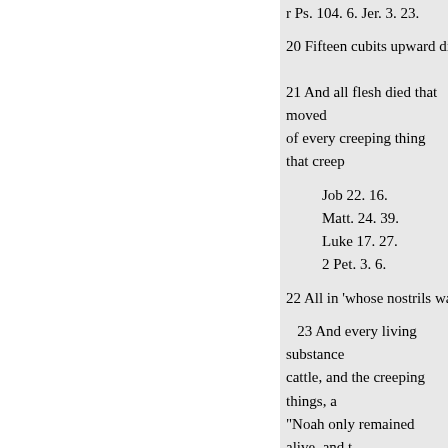r Ps. 104. 6. Jer. 3. 23.
20 Fifteen cubits upward did the
21 And all flesh died that moved of every creeping thing that creep
Job 22. 16.
Matt. 24. 39.
Luke 17. 27.
2 Pet. 3. 6.
22 All in 'whose nostrils was the
23 And every living substance cattle, and the creeping things, a "Noah only remained alive, and t
t ch. 2. 7.
Heb. the breath of the spirit of li
u 1 Pet. S. 20.
2 Pet. 2. 5. & 3.6.
« Anterior